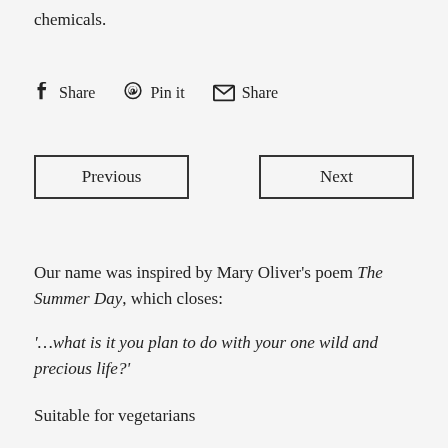chemicals.
Share  Pin it  Share
Previous
Next
Our name was inspired by Mary Oliver's poem The Summer Day, which closes:
'…what is it you plan to do with your one wild and precious life?'
Suitable for vegetarians